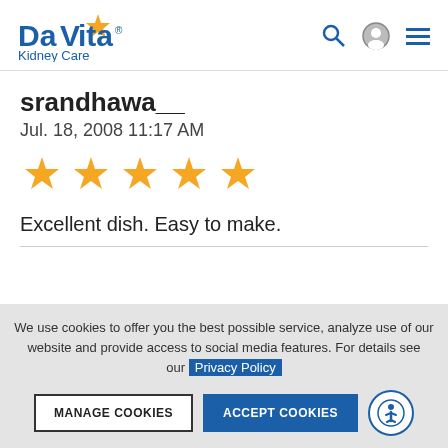[Figure (logo): DaVita Kidney Care logo with orange star]
srandhawa__
Jul. 18, 2008 11:17 AM
[Figure (other): 5 orange stars rating]
Excellent dish. Easy to make.
We use cookies to offer you the best possible service, analyze use of our website and provide access to social media features. For details see our Privacy Policy
MANAGE COOKIES
ACCEPT COOKIES